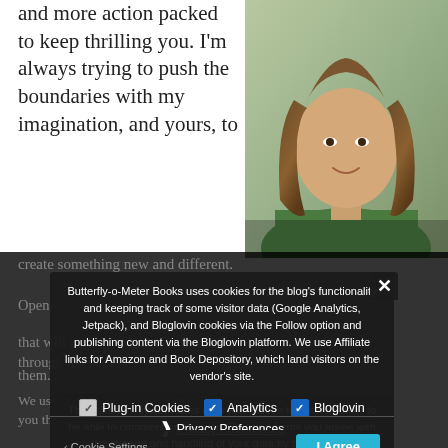and more action packed to keep thrilling you. I'm always trying to push the boundaries with my imagination, and yours, to create something new and different.
[Figure (photo): Portrait photo of a woman with long brown hair, smiling, wearing a green top.]
Open [text obscured by overlay] ones that will make you laugh, cry, and fly through the pages [obscured] them.
Butterfly-o-Meter Books uses cookies for the blog's functionality and keeping track of some visitor data (Google Analytics, Jetpack), and Bloglovin cookies via the Follow option and publishing content via the Bloglovin platform. We use Affiliate links for Amazon and Book Depository, which land visitors on the vendor's site.
The comment system uses data you choose to enter in order to be able to comment on the blog. By using forms you agree with the storage and handling of your data by this website.
We use cookies on our website to give you the most relevant exp[erience] [by remembering your p]references and repeat visits. By clicking ["Accept"] you consent to the use of ALL the cookies. However, you may visit "Cookie Settings" to provide a controlled consent.
Plug-in Cookies  ☑  Analytics  ☑  Bloglovin
❯ Privacy Preferences
Cookie Settings
I Agree